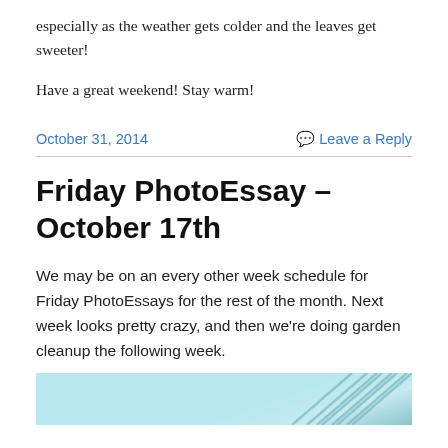especially as the weather gets colder and the leaves get sweeter!
Have a great weekend! Stay warm!
October 31, 2014
Leave a Reply
Friday PhotoEssay – October 17th
We may be on an every other week schedule for Friday PhotoEssays for the rest of the month. Next week looks pretty crazy, and then we're doing garden cleanup the following week.
[Figure (photo): Partial view of a photo with light blue/teal tones and diagonal lines, appearing to be an outdoor scene.]